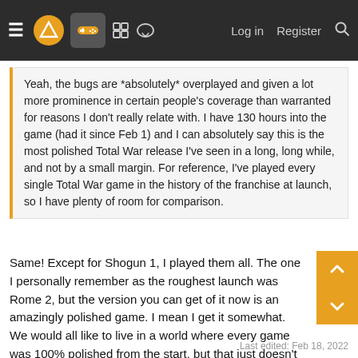≡ [logo] [controller icon] [grid icon] [chat icon]  Log in  Register  [search]
Yeah, the bugs are *absolutely* overplayed and given a lot more prominence in certain people's coverage than warranted for reasons I don't really relate with. I have 130 hours into the game (had it since Feb 1) and I can absolutely say this is the most polished Total War release I've seen in a long, long while, and not by a small margin. For reference, I've played every single Total War game in the history of the franchise at launch, so I have plenty of room for comparison.
Same! Except for Shogun 1, I played them all. The one I personally remember as the roughest launch was Rome 2, but the version you can get of it now is an amazingly polished game. I mean I get it somewhat. We would all like to live in a world where every game was 100% polished from the start, but that just doesn't happen barely at all. With the scope of all that WH3 is trying to do, I'm very forgiving and in it for the long haul. Their trackrecord proves that they always do well in the longrun.
Last edited: Feb 18, 2022